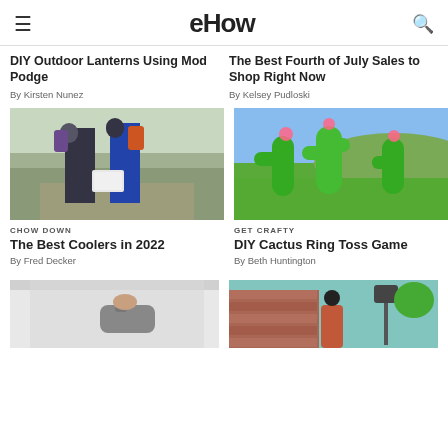eHow
DIY Outdoor Lanterns Using Mod Podge
By Kirsten Nunez
The Best Fourth of July Sales to Shop Right Now
By Kelsey Pudloski
[Figure (photo): Two people walking on a path carrying a white cooler and backpacks]
CHOW DOWN
The Best Coolers in 2022
By Fred Decker
[Figure (photo): Colorful DIY wooden cactus cutouts with decorative flowers on a lawn]
GET CRAFTY
DIY Cactus Ring Toss Game
By Beth Huntington
[Figure (photo): Person holding an iron near a fabric item]
[Figure (photo): Person near a brick building exterior with a lantern post]